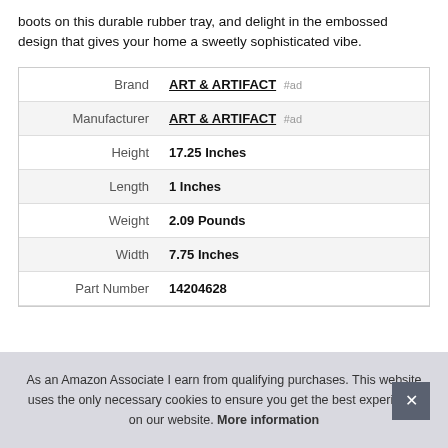boots on this durable rubber tray, and delight in the embossed design that gives your home a sweetly sophisticated vibe.
|  |  |
| --- | --- |
| Brand | ART & ARTIFACT #ad |
| Manufacturer | ART & ARTIFACT #ad |
| Height | 17.25 Inches |
| Length | 1 Inches |
| Weight | 2.09 Pounds |
| Width | 7.75 Inches |
| Part Number | 14204628 |
As an Amazon Associate I earn from qualifying purchases. This website uses the only necessary cookies to ensure you get the best experience on our website. More information